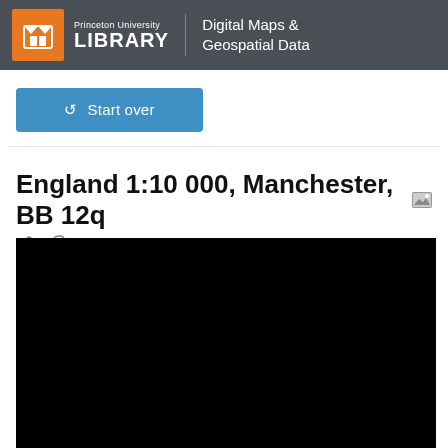Princeton University LIBRARY | Digital Maps & Geospatial Data
Start over
England 1:10 000, Manchester, BB 12q
[Figure (map): Black map preview area for England 1:10 000, Manchester, BB 12q]